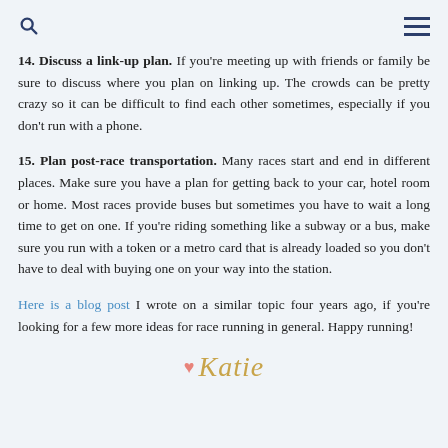[search icon] [menu icon]
14.  Discuss a link-up plan.  If you're meeting up with friends or family be sure to discuss where you plan on linking up.  The crowds can be pretty crazy so it can be difficult to find each other sometimes, especially if you don't run with a phone.
15.  Plan post-race transportation.  Many races start and end in different places.  Make sure you have a plan for getting back to your car, hotel room or home.  Most races provide buses but sometimes you have to wait a long time to get on one.  If you're riding something like a subway or a bus, make sure you run with a token or a metro card that is already loaded so you don't have to deal with buying one on your way into the station.
Here is a blog post I wrote on a similar topic four years ago, if you're looking for a few more ideas for race running in general.  Happy running!
♥ Katie